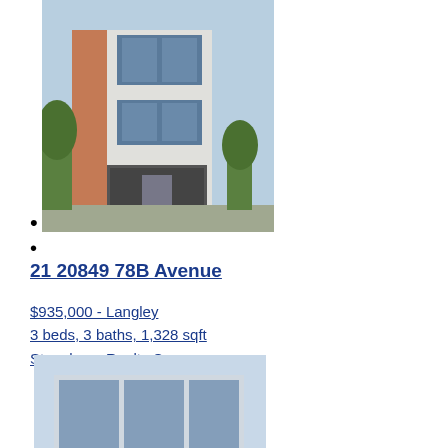[Figure (photo): Photo of a modern multi-story townhouse with grey and white exterior, large windows, and garage]
21 20849 78B Avenue
21 20849 78B Avenue
$935,000 - Langley
3 beds, 3 baths, 1,328 sqft
Stonehaus Realty Corp.
[Figure (photo): Photo of a modern glass-facade commercial/residential building with a vintage car parked in front]
12 20852 78B Avenue
12 20852 78B Avenue